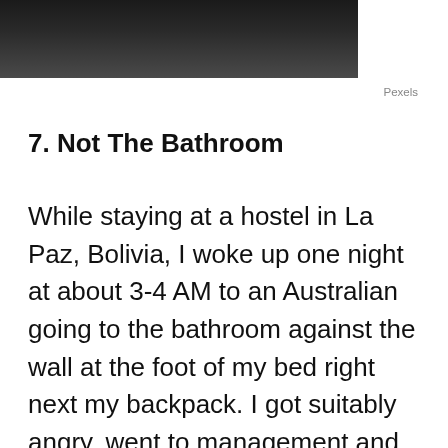[Figure (photo): Dark photograph, partially visible at top of page, showing a dark background with faint shadowy subject]
Pexels
7. Not The Bathroom
While staying at a hostel in La Paz, Bolivia, I woke up one night at about 3-4 AM to an Australian going to the bathroom against the wall at the foot of my bed right next my backpack. I got suitably angry, went to management and made sure my things were cleaned and the laundry bill was charged to